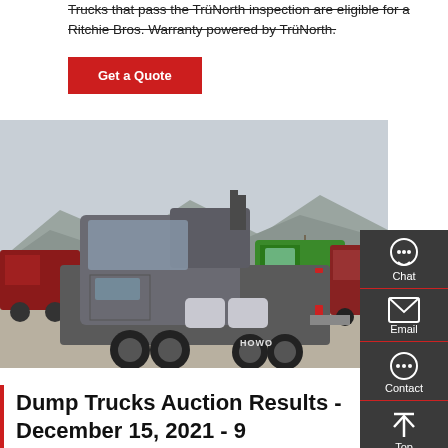Trucks that pass the TrüNorth inspection are eligible for a Ritchie Bros. Warranty powered by TrüNorth.
Get a Quote
[Figure (photo): A HOWO semi-truck (day cab tractor) photographed from the rear-left in a large truck yard with mountains in the background. Other colorful trucks including a green truck are visible in the background.]
Dump Trucks Auction Results - December 15, 2021 - 9